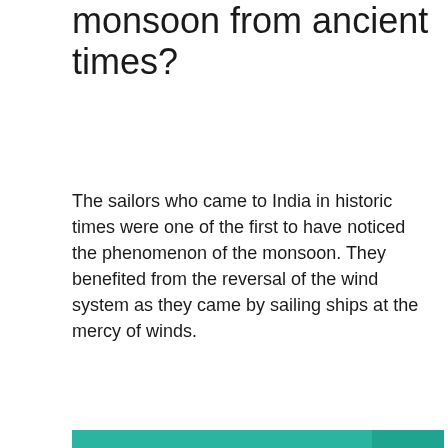Who are benefited by Indian monsoon from ancient times?
The sailors who came to India in historic times were one of the first to have noticed the phenomenon of the monsoon. They benefited from the reversal of the wind system as they came by sailing ships at the mercy of winds.
[Figure (infographic): Teal callout box with header 'THIS IS INTERESTING:' and bold question text 'Question: What is the average cost of cancer treatment in India?' with a right-arrow chevron on a darker teal background on the right side.]
How does monsoon affect Indian agriculture?